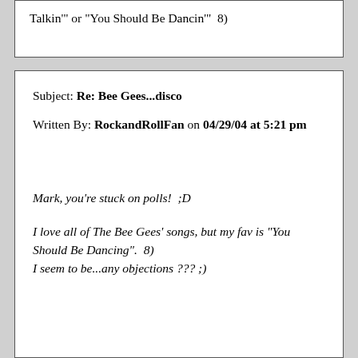Talkin'" or "You Should Be Dancin'"  8)
Subject: Re: Bee Gees...disco
Written By: RockandRollFan on 04/29/04 at 5:21 pm
Mark, you're stuck on polls!  ;D
I love all of The Bee Gees' songs, but my fav is "You Should Be Dancing".  8)
I seem to be...any objections ??? ;)